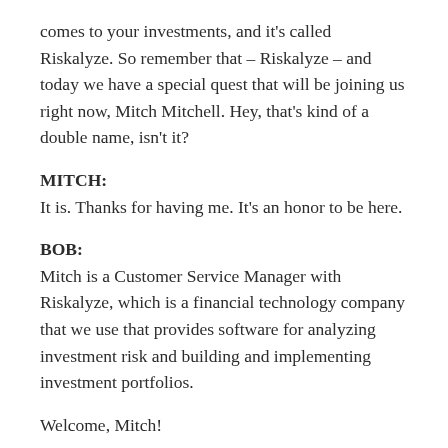comes to your investments, and it's called Riskalyze. So remember that – Riskalyze – and today we have a special quest that will be joining us right now, Mitch Mitchell. Hey, that's kind of a double name, isn't it?
MITCH:
It is. Thanks for having me. It's an honor to be here.
BOB:
Mitch is a Customer Service Manager with Riskalyze, which is a financial technology company that we use that provides software for analyzing investment risk and building and implementing investment portfolios.
Welcome, Mitch!